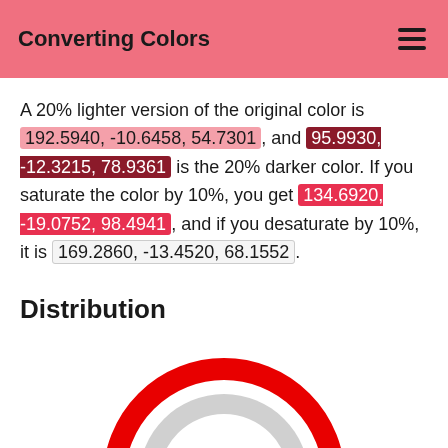Converting Colors
A 20% lighter version of the original color is 192.5940, -10.6458, 54.7301, and 95.9930, -12.3215, 78.9361 is the 20% darker color. If you saturate the color by 10%, you get 134.6920, -19.0752, 98.4941, and if you desaturate by 10%, it is 169.2860, -13.4520, 68.1552.
Distribution
[Figure (donut-chart): Partial donut/pie chart visible at bottom of page showing color distribution with red and grey segments]